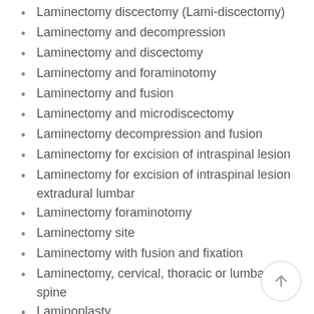Laminectomy discectomy (Lami-discectomy)
Laminectomy and decompression
Laminectomy and discectomy
Laminectomy and foraminotomy
Laminectomy and fusion
Laminectomy and microdiscectomy
Laminectomy decompression and fusion
Laminectomy for excision of intraspinal lesion
Laminectomy for excision of intraspinal lesion extradural lumbar
Laminectomy foraminotomy
Laminectomy site
Laminectomy with fusion and fixation
Laminectomy, cervical, thoracic or lumbar spine
Laminoplasty
Laminotomy and microdiscectomy
Laminotomy discectomy